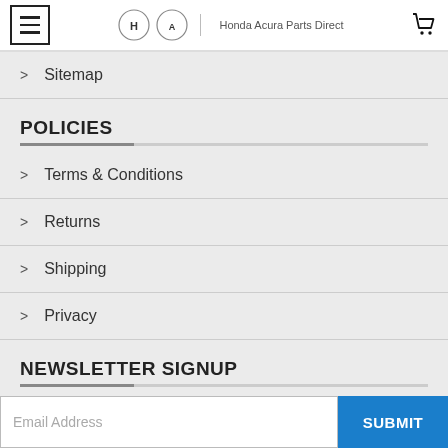Honda Acura Parts Direct
Sitemap
POLICIES
Terms & Conditions
Returns
Shipping
Privacy
NEWSLETTER SIGNUP
Email Address
SUBMIT